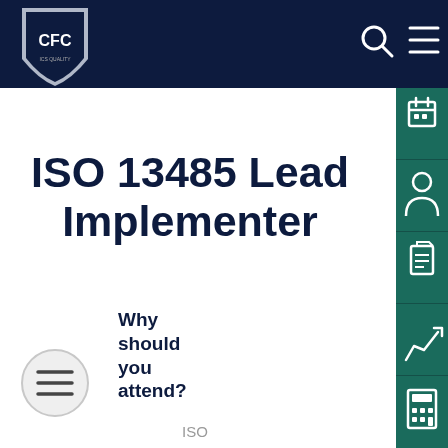[Figure (logo): CFC logo shield in header navigation bar with dark navy background, search icon and hamburger menu]
ISO 13485 Lead Implementer
Why should you attend?
ISO
[Figure (infographic): Vertical teal sidebar with 5 icons: calendar, person/contact, document, chart/trend, calculator]